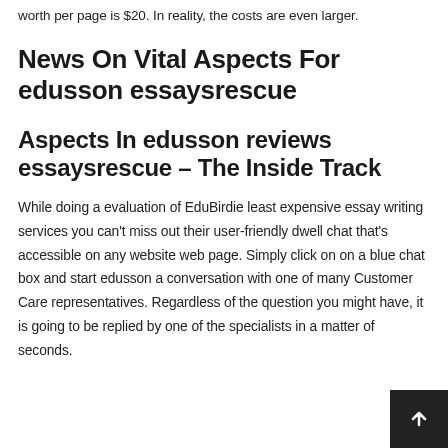worth per page is $20.  In reality, the costs are even larger.
News On Vital Aspects For edusson essaysrescue
Aspects In edusson reviews essaysrescue – The Inside Track
While doing a evaluation of EduBirdie least expensive essay writing services you can't miss out their user-friendly dwell chat that's accessible on any website web page. Simply click on on a blue chat box and start edusson a conversation with one of many Customer Care representatives. Regardless of the question you might have, it is going to be replied by one of the specialists in a matter of seconds.